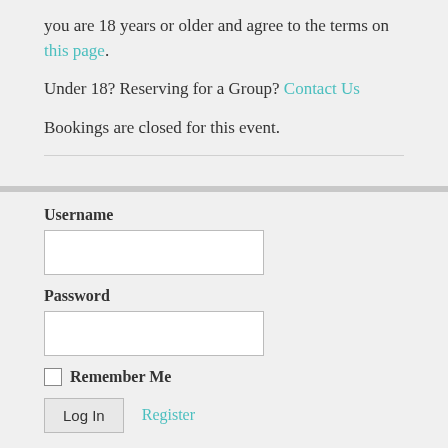you are 18 years or older and agree to the terms on this page.
Under 18? Reserving for a Group? Contact Us
Bookings are closed for this event.
Username
Password
Remember Me
Log In  Register